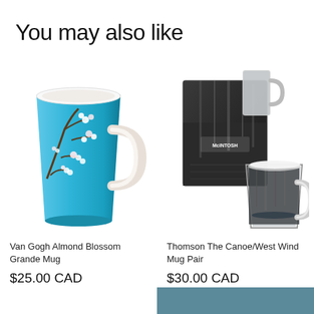You may also like
[Figure (photo): Van Gogh Almond Blossom Grande Mug — a tall ceramic mug with turquoise background and white almond blossom painting]
Van Gogh Almond Blossom Grande Mug
$25.00 CAD
[Figure (photo): Thomson The Canoe/West Wind Mug Pair — two glass mugs with dark lake/forest scene, shown with black gift box branded McIntosh]
Thomson The Canoe/West Wind Mug Pair
$30.00 CAD